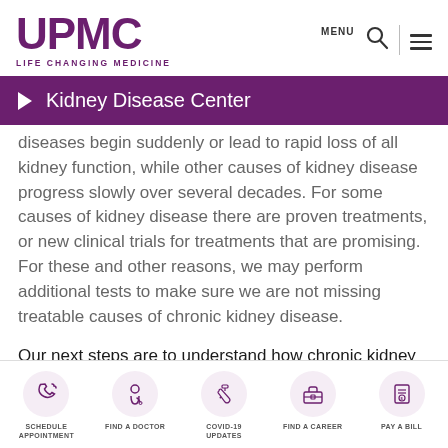[Figure (logo): UPMC logo with tagline LIFE CHANGING MEDICINE in purple]
MENU
Kidney Disease Center
diseases begin suddenly or lead to rapid loss of all kidney function, while other causes of kidney disease progress slowly over several decades. For some causes of kidney disease there are proven treatments, or new clinical trials for treatments that are promising. For these and other reasons, we may perform additional tests to make sure we are not missing treatable causes of chronic kidney disease.
Our next steps are to understand how chronic kidney
[Figure (infographic): Bottom navigation bar with five icons: Schedule Appointment (phone), Find a Doctor (stethoscope), COVID-19 Updates (syringe), Find a Career (briefcase), Pay a Bill (document with dollar sign)]